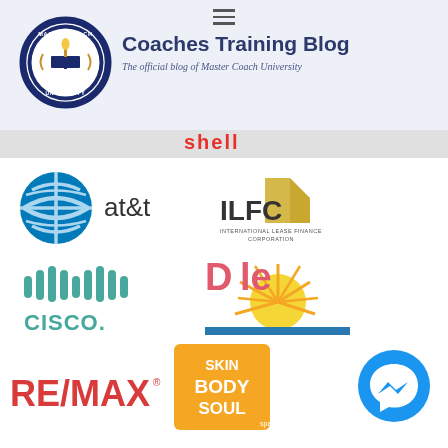Coaches Training Blog — The official blog of Master Coach University
[Figure (logo): Master Coach University circular badge logo with torch and book]
[Figure (logo): Shell logo text in red]
[Figure (logo): AT&T logo — blue globe and at&t wordmark]
[Figure (logo): ILFC International Lease Finance Corporation logo]
[Figure (logo): Cisco logo in teal]
[Figure (logo): Dole logo in red/pink with sunburst]
[Figure (logo): RE/MAX logo in red]
[Figure (logo): Skin Body Soul logo on orange background]
[Figure (logo): Facebook Messenger blue circle icon]